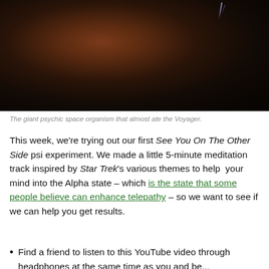[Figure (photo): Dark image of a giant psychic space organism floating in space with lightning in the background, from Star Trek Voyager.]
The giant psychic space organism that almost ate the Voyager.
This week, we're trying out our first See You On The Other Side psi experiment. We made a little 5-minute meditation track inspired by Star Trek's various themes to help your mind into the Alpha state – which is the state that some people believe can enhance telepathy – so we want to see if we can help you get results.
Find a friend to listen to this YouTube video through headphones at the same time as you and be...